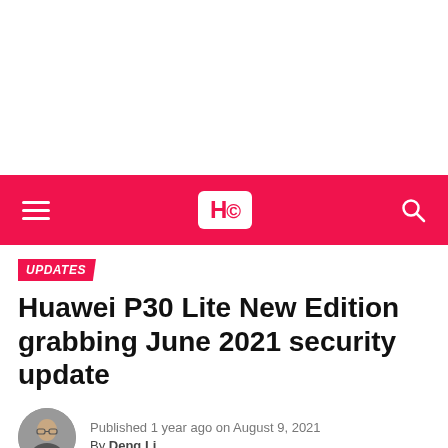[Figure (other): Blank white advertisement or placeholder area at top of page]
HC — Huawei Central navigation bar with hamburger menu, HC logo, and search icon
UPDATES
Huawei P30 Lite New Edition grabbing June 2021 security update
Published 1 year ago on August 9, 2021
By Deng Li